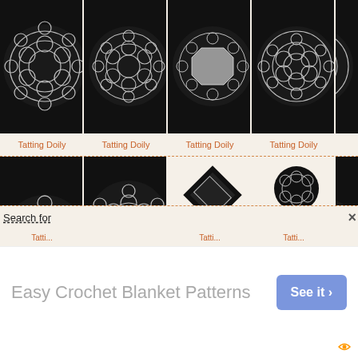[Figure (photo): Grid of tatting doily photographs on dark circular backgrounds, top row showing 4 partially visible doilies]
Tatting Doily
Tatting Doily
Tatting Doily
Tatting Doily
[Figure (photo): Second row of tatting doily photographs, partially visible, on dark backgrounds with various lace patterns]
Search for
Easy Crochet Blanket Patterns
See it ❯